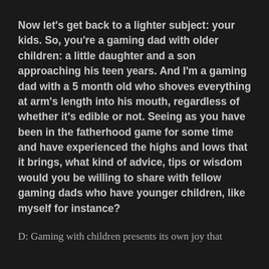Now let's get back to a lighter subject: your kids. So, you're a gaming dad with older children: a little daughter and a son approaching his teen years. And I'm a gaming dad with a 5 month old who shoves everything at arm's length into his mouth, regardless of whether it's edible or not. Seeing as you have been in the fatherhood game for some time and have experienced the highs and lows that it brings, what kind of advice, tips or wisdom would you be willing to share with fellow gaming dads who have younger children, like myself for instance?
D: Gaming with children presents its own joy that